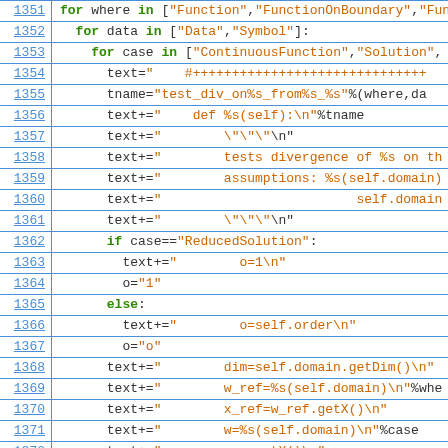[Figure (screenshot): Source code listing lines 1351-1372 showing Python code with for loops, string concatenation assignments (text+=), conditional if/else, and variable assignments. Line numbers in blue on left, keywords in green, string values in orange/red.]